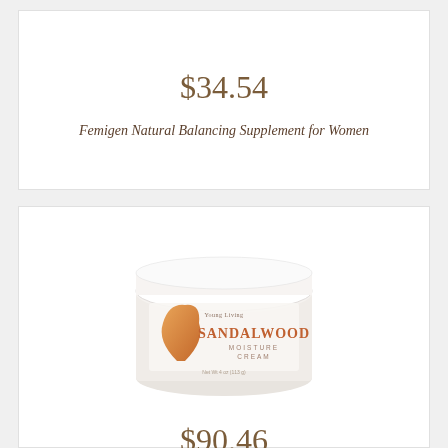$34.54
Femigen Natural Balancing Supplement for Women
[Figure (photo): A white jar of Young Living Sandalwood Moisture Cream with an orange droplet logo on the label.]
$90.46